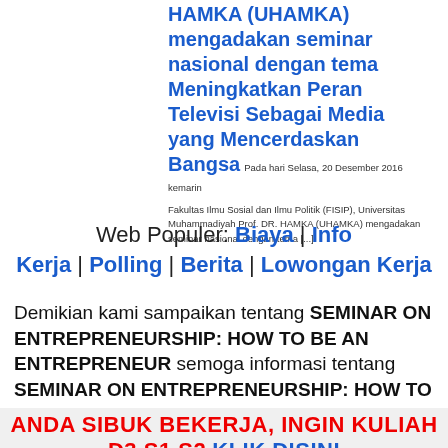HAMKA (UHAMKA) mengadakan seminar nasional dengan tema Meningkatkan Peran Televisi Sebagai Media yang Mencerdaskan Bangsa Pada hari Selasa, 20 Desember 2016 kemarin
Fakultas Ilmu Sosial dan Ilmu Politik (FISIP), Universitas Muhammadiyah Prof. DR. HAMKA (UHAMKA) mengadakan seminar nasional dengan tema [...]
Web Populer: Biaya | Info Kerja | Polling | Berita | Lowongan Kerja
Demikian kami sampaikan tentang SEMINAR ON ENTREPRENEURSHIP: HOW TO BE AN ENTREPRENEUR semoga informasi tentang SEMINAR ON ENTREPRENEURSHIP: HOW TO BE AN ENTREPRENEUR ini bermanfaat.
ANDA SIBUK BEKERJA, INGIN KULIAH D3 S1 S2 KLIK DISINI